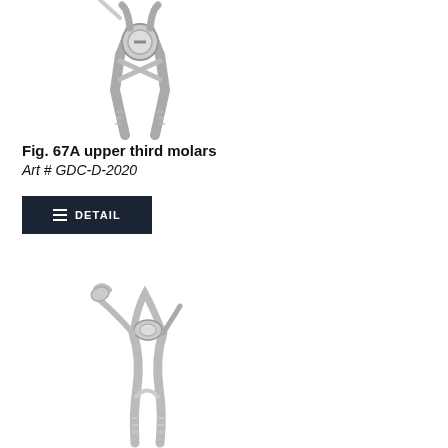[Figure (illustration): Dental extraction forceps Fig. 67A for upper third molars, shown from front view with crossed handles and circular pivot joint]
Fig. 67A upper third molars
Art # GDC-D-2020
[Figure (other): Dark button with three horizontal lines icon and text DETAIL]
[Figure (illustration): Dental extraction forceps shown at an angle, side view, with curved handles and angled beak tips for upper third molar extraction]